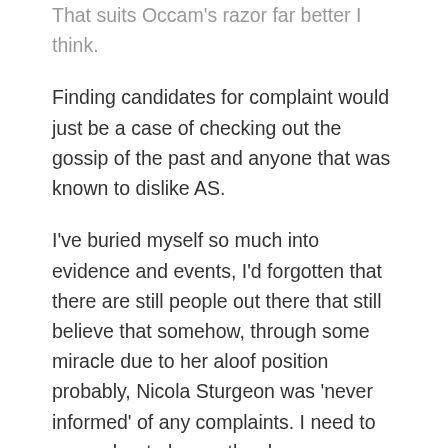That suits Occam's razor far better I think.
Finding candidates for complaint would just be a case of checking out the gossip of the past and anyone that was known to dislike AS.
I've buried myself so much into evidence and events, I'd forgotten that there are still people out there that still believe that somehow, through some miracle due to her aloof position probably, Nicola Sturgeon was 'never informed' of any complaints. I need to remember to be gentle when mentioning things outside this blog.
The whole thing smacks of trawling for any kind of complaint against a 'past minister', then encouraging those people to make an official complaint – ensuring the procedure suited the exact circumstances of those people. The whole